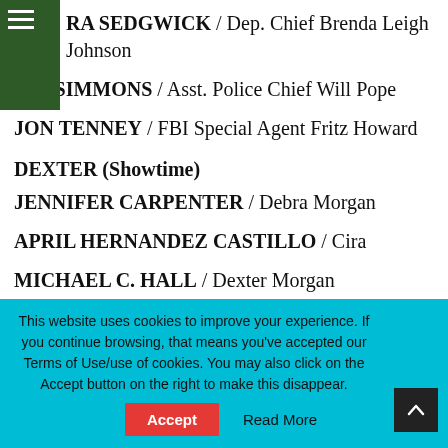≡
RA SEDGWICK / Dep. Chief Brenda Leigh Johnson
J.K. SIMMONS / Asst. Police Chief Will Pope
JON TENNEY / FBI Special Agent Fritz Howard
DEXTER (Showtime)
JENNIFER CARPENTER / Debra Morgan
APRIL HERNANDEZ CASTILLO / Cira
MICHAEL C. HALL / Dexter Morgan
DESMOND HARRINGTON / Joey Quinn
This website uses cookies to improve your experience. If you continue browsing, that means you've accepted our Terms of Use/use of cookies. You may also click on the Accept button on the right to make this disappear.